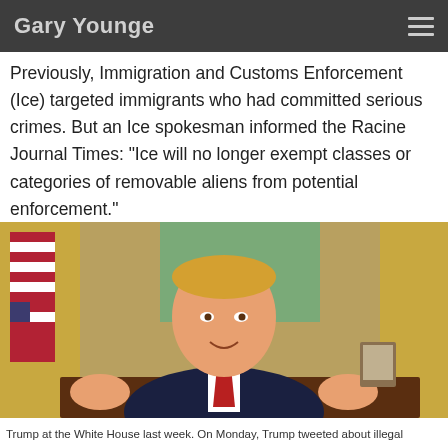Gary Younge
Previously, Immigration and Customs Enforcement (Ice) targeted immigrants who had committed serious crimes. But an Ice spokesman informed the Racine Journal Times: “Ice will no longer exempt classes or categories of removable aliens from potential enforcement.”
[Figure (photo): Photograph of a man in a dark suit and red tie seated at a desk in the White House Oval Office, gesturing with both hands open and raised to the sides, with an American flag and golden curtains visible in the background.]
Trump at the White House last week. On Monday, Trump tweeted about illegal